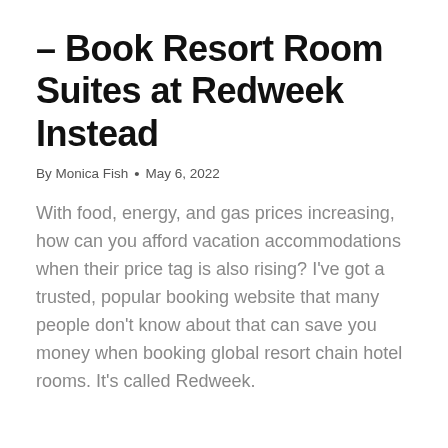– Book Resort Room Suites at Redweek Instead
By Monica Fish  •  May 6, 2022
With food, energy, and gas prices increasing, how can you afford vacation accommodations when their price tag is also rising? I've got a trusted, popular booking website that many people don't know about that can save you money when booking global resort chain hotel rooms. It's called Redweek.